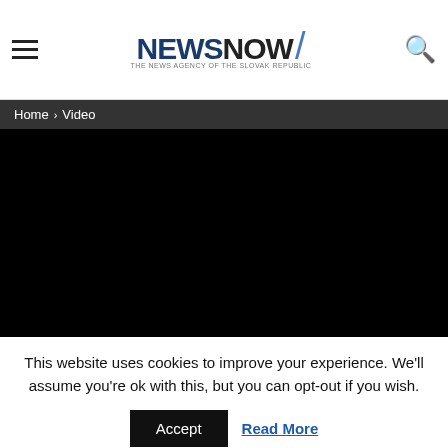NEWSNOW — THE NEWS AGENCY OF THE SLOVAK REPUBLIC
Home › Video
[Figure (other): Black video player area]
This website uses cookies to improve your experience. We'll assume you're ok with this, but you can opt-out if you wish. Accept  Read More